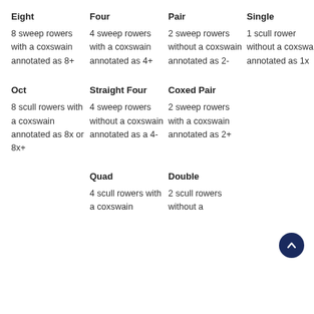Eight
Four
Pair
Single
8 sweep rowers with a coxswain annotated as 8+
4 sweep rowers with a coxswain annotated as 4+
2 sweep rowers without a coxswain annotated as 2-
1 scull rower without a coxswain annotated as 1x
Oct
Straight Four
Coxed Pair
8 scull rowers with a coxswain annotated as 8x or 8x+
4 sweep rowers without a coxswain annotated as a 4-
2 sweep rowers with a coxswain annotated as 2+
Quad
Double
4 scull rowers with a coxswain
2 scull rowers without a